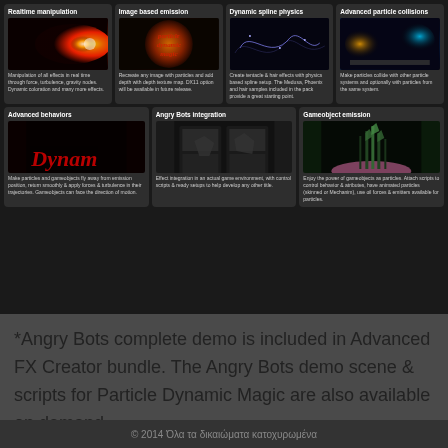[Figure (screenshot): Grid of 7 feature cards for Particle Dynamic Magic software showing: Realtime manipulation, Image based emission, Dynamic spline physics, Advanced particle collisions, Advanced behaviors, Angry Bots integration, Gameobject emission. Each card has a screenshot/preview image and description text.]
*Angry Bots complete demo is included in Advanced FX Creator bundle. The Angry Bots demo scene & scripts for Particle Dynamic Magic are also available on demand.
© 2014 Όλα τα δικαιώματα κατοχυρωμένα